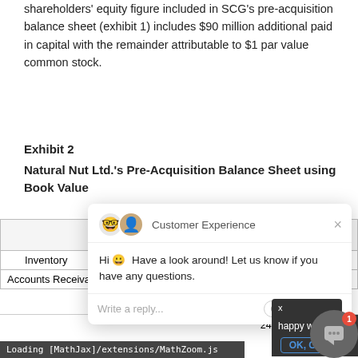shareholders' equity figure included in SCG's pre-acquisition balance sheet (exhibit 1) includes $90 million additional paid in capital with the remainder attributable to $1 par value common stock.
Exhibit 2
Natural Nut Ltd.'s Pre-Acquisition Balance Sheet using Book Value
|  | Book Value | Fair Value ($ 000) |
| --- | --- | --- |
| Inventory | 10,500 | 10,500 |
| Accounts Receivable | 1[...] | [...] |
| [...] | 24,000 | 31,500 |
[Figure (screenshot): Customer Experience chat popup overlay showing avatars, greeting message 'Hi! Have a look around! Let us know if you have any questions.', and reply input area with GIF, emoji, and attachment icons.]
Loading [MathJax]/extensions/MathZoom.js